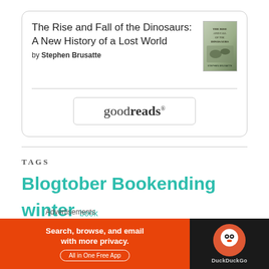[Figure (screenshot): Goodreads book widget showing 'The Rise and Fall of the Dinosaurs: A New History of a Lost World' by Stephen Brusatte, with book cover image and goodreads button]
The Rise and Fall of the Dinosaurs: A New History of a Lost World
by Stephen Brusatte
TAGS
Blogtober Bookending winter book recommendations Book tag Contemporary Fantasy
Advertisements
[Figure (screenshot): DuckDuckGo advertisement banner: 'Search, browse, and email with more privacy. All in One Free App' on orange background with DuckDuckGo logo on dark right panel]